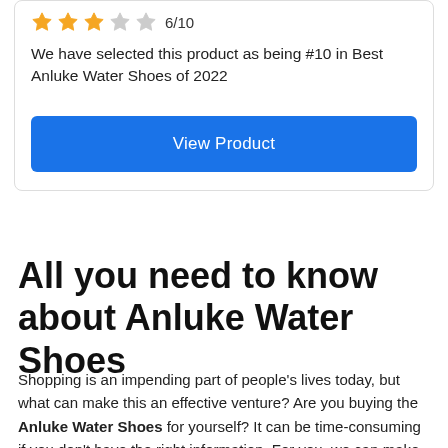3/10
We have selected this product as being #10 in Best Anluke Water Shoes of 2022
View Product
All you need to know about Anluke Water Shoes
Shopping is an impending part of people's lives today, but what can make this an effective venture? Are you buying the Anluke Water Shoes for yourself? It can be time-consuming if you don't have the right information. For you, we can make that happen. We've been researching and collecting reliable